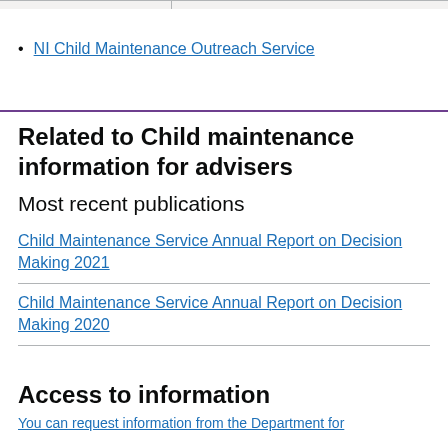|  |  |
NI Child Maintenance Outreach Service
Related to Child maintenance information for advisers
Most recent publications
Child Maintenance Service Annual Report on Decision Making 2021
Child Maintenance Service Annual Report on Decision Making 2020
Access to information
You can request information from the Department for